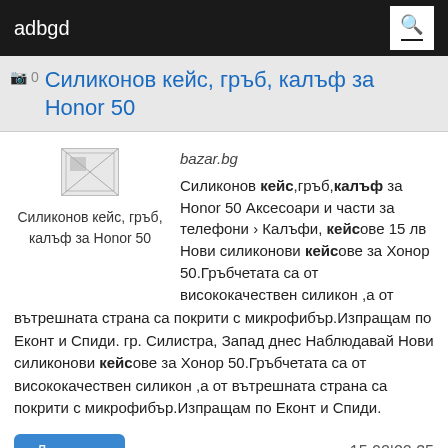adbgd
Силиконов кейс, гръб, калъф за Honor 50
[Figure (photo): Thumbnail image placeholder for product listing: Силиконов кейс, гръб, калъф за Honor 50]
bazar.bg
Силиконов кейс,гръб,калъф за Honor 50 Аксесоари и части за телефони › Калъфи, кейсове 15 лв Нови силиконови кейсове за Хонор 50.Гръбчетата са от висококачествен силикон ,а от вътрешната страна са покрити с микрофибър.Изпращам по Еконт и Спиди. гр. Силистра, Запад днес Наблюдавай Нови силиконови кейсове за Хонор 50.Гръбчетата са от висококачествен силикон ,а от вътрешната страна са покрити с микрофибър.Изпращам по Еконт и Спиди.
Детали...
15.02|22:35